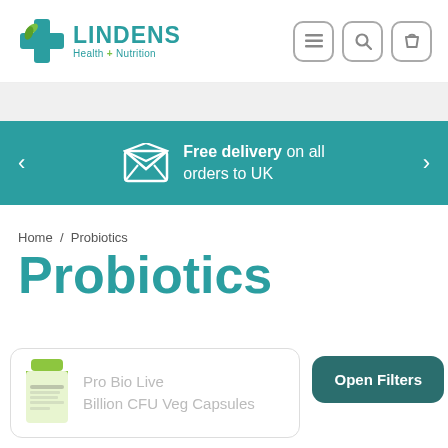[Figure (logo): Lindens Health + Nutrition logo with teal cross and green leaf icon]
[Figure (infographic): Navigation icons: hamburger menu, search, and shopping bag]
[Figure (infographic): Teal banner with envelope icon and text: Free delivery on all orders to UK, with left and right arrows]
Home / Probiotics
Probiotics
[Figure (photo): Product card showing Pro Bio Live Billion CFU Veg Capsules with product image on left]
Open Filters